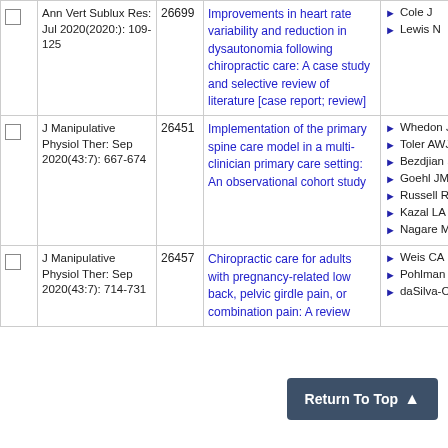|  | Journal | ID | Title | Authors |
| --- | --- | --- | --- | --- |
| ☐ | Ann Vert Sublux Res: Jul 2020(2020:): 109-125 | 26699 | Improvements in heart rate variability and reduction in dysautonomia following chiropractic care: A case study and selective review of literature [case report; review] | Cole J
Lewis N |
| ☐ | J Manipulative Physiol Ther: Sep 2020(43:7): 667-674 | 26451 | Implementation of the primary spine care model in a multi-clinician primary care setting: An observational cohort study | Whedon JM
Toler AWJ
Bezdjian S
Goehl JM
Russell R
Kazal LA
Nagare M |
| ☐ | J Manipulative Physiol Ther: Sep 2020(43:7): 714-731 | 26457 | Chiropractic care for adults with pregnancy-related low back, pelvic girdle pain, or combination pain: A review | Weis CA
Pohlman K
daSilva-Oolup S |
Return To Top